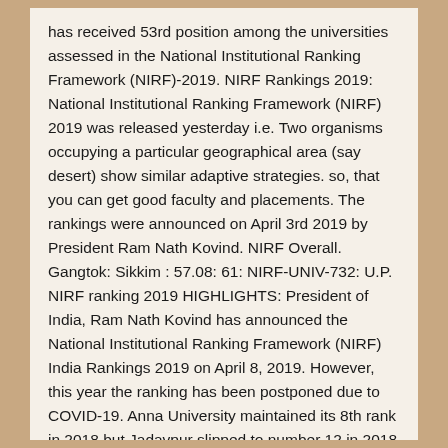has received 53rd position among the universities assessed in the National Institutional Ranking Framework (NIRF)-2019. NIRF Rankings 2019: National Institutional Ranking Framework (NIRF) 2019 was released yesterday i.e. Two organisms occupying a particular geographical area (say desert) show similar adaptive strategies. so, that you can get good faculty and placements. The rankings were announced on April 3rd 2019 by President Ram Nath Kovind. NIRF Overall. Gangtok: Sikkim : 57.08: 61: NIRF-UNIV-732: U.P. NIRF ranking 2019 HIGHLIGHTS: President of India, Ram Nath Kovind has announced the National Institutional Ranking Framework (NIRF) India Rankings 2019 on April 8, 2019. However, this year the ranking has been postponed due to COVID-19. Anna University maintained its 8th rank in 2018 but Jadavpur slipped to number 12 in 2018 from number 9 in 2017. Pandit Deen Dayal Upadhyaya Pashu Chikitsa Vigyan Vishwavidhyalaya Evam Go Tech Companion - A Complete pack to prepare for Engineering admissions, MBBS Companion - For NEET preparation and admission process, QnA - Get answers from students and experts.